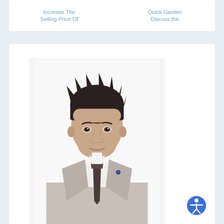Increase The Selling Price Of | Quick Garden Discuss the
[Figure (photo): Professional headshot of a man with dark spiky hair wearing a light gray suit, white dress shirt, and dark tie, with a pin on his lapel, photographed against a white background]